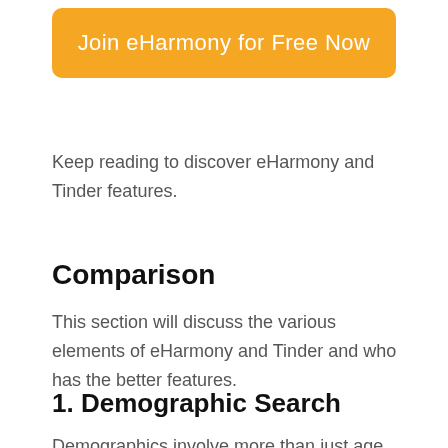[Figure (other): Orange rounded button with white text reading 'Join eHarmony for Free Now']
Keep reading to discover eHarmony and Tinder features.
Comparison
This section will discuss the various elements of eHarmony and Tinder and who has the better features.
1. Demographic Search
Demographics involve more than just age